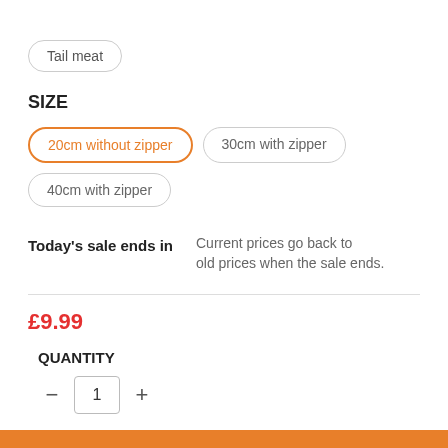Tail meat
SIZE
20cm without zipper
30cm with zipper
40cm with zipper
Today's sale ends in
Current prices go back to old prices when the sale ends.
£9.99
QUANTITY
1